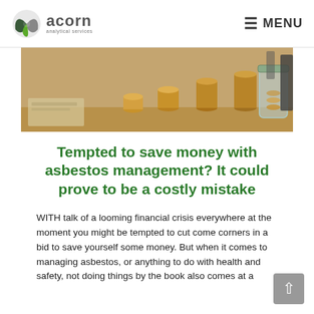acorn analytical services — MENU
[Figure (photo): Hero image of stacked coins and a glass jar filled with coins on a wooden surface, suggesting savings and money management.]
Tempted to save money with asbestos management? It could prove to be a costly mistake
WITH talk of a looming financial crisis everywhere at the moment you might be tempted to cut come corners in a bid to save yourself some money. But when it comes to managing asbestos, or anything to do with health and safety, not doing things by the book also comes at a